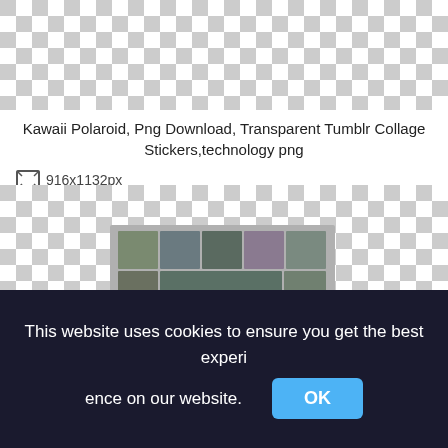[Figure (other): Checkerboard transparency pattern at top of page representing transparent PNG image area]
Kawaii Polaroid, Png Download, Transparent Tumblr Collage Stickers,technology png
916x1132px
[Figure (photo): Checkerboard transparency background with a gray polaroid-style photo collage in the center showing multiple family/group photos arranged in a grid]
This website uses cookies to ensure you get the best experience on our website. OK